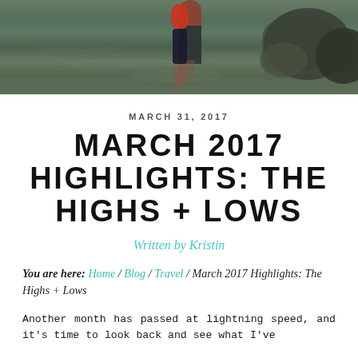[Figure (photo): Photo of a person standing in a stream or shallow water, with rocks visible on the right side, and reflections in the water. The figure appears to be wearing red and dark clothing.]
MARCH 31, 2017
MARCH 2017 HIGHLIGHTS: THE HIGHS + LOWS
Written by Kristin
You are here: Home / Blog / Travel / March 2017 Highlights: The Highs + Lows
Another month has passed at lightning speed, and it's time to look back and see what I've